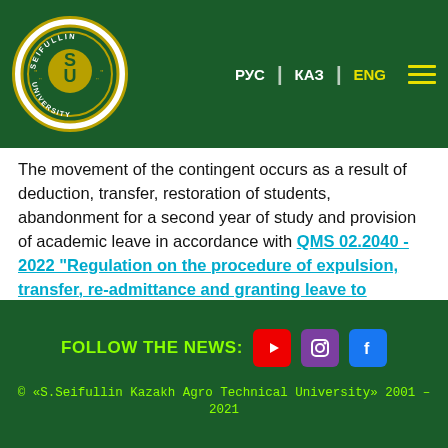РУС | КАЗ | ENG
The movement of the contingent occurs as a result of deduction, transfer, restoration of students, abandonment for a second year of study and provision of academic leave in accordance with QMS 02.2040 - 2022 "Regulation on the procedure of expulsion, transfer, re-admittance and granting leave to students in S. Seifullin KATU"
FOLLOW THE NEWS: [YouTube] [Instagram] [Facebook]
© «S.Seifullin Kazakh Agro Technical University» 2001 – 2021